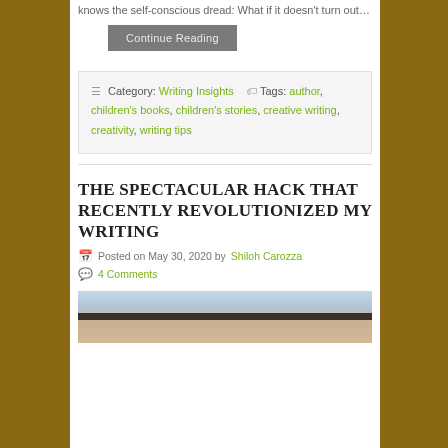knows the self-conscious dread: What if it doesn't turn out...
Continue Reading
Category: Writing Insights   Tags: author, children's books, children's stories, creative writing, creativity, writing tips
THE SPECTACULAR HACK THAT RECENTLY REVOLUTIONIZED MY WRITING
Posted on May 30, 2020 by Shiloh Carozza
4 Comments
[Figure (photo): Thumbnail image at the bottom of the page, showing what appears to be a wooden object or pen against a light background]